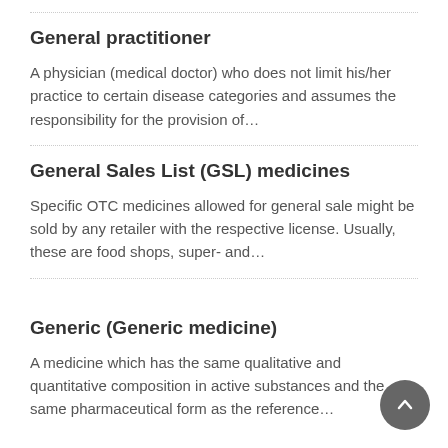General practitioner
A physician (medical doctor) who does not limit his/her practice to certain disease categories and assumes the responsibility for the provision of…
General Sales List (GSL) medicines
Specific OTC medicines allowed for general sale might be sold by any retailer with the respective license. Usually, these are food shops, super- and…
Generic (Generic medicine)
A medicine which has the same qualitative and quantitative composition in active substances and the same pharmaceutical form as the reference…